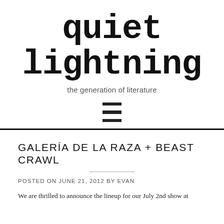quiet lightning
the generation of literature
[Figure (other): Hamburger menu icon with three horizontal lines]
GALERÍA DE LA RAZA + BEAST CRAWL
POSTED ON JUNE 21, 2012 BY EVAN
We are thrilled to announce the lineup for our July 2nd show at